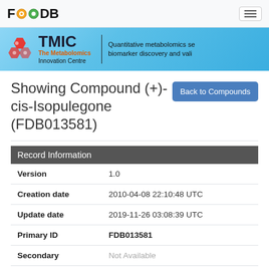FoodDB navigation bar with logo FOODB and hamburger menu
[Figure (screenshot): TMIC - The Metabolomics Innovation Centre banner with hexagonal logo, text: Quantitative metabolomics services for biomarker discovery and validation]
Showing Compound (+)-cis-Isopulegone (FDB013581)
| Field | Value |
| --- | --- |
| Version | 1.0 |
| Creation date | 2010-04-08 22:10:48 UTC |
| Update date | 2019-11-26 03:08:39 UTC |
| Primary ID | FDB013581 |
| Secondary | Not Available |